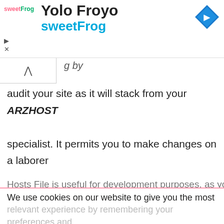[Figure (logo): sweetFrog frozen yogurt advertisement banner with logo, title 'Yolo Froyo', subtitle 'sweetFrog', navigation icon]
audit your site as it will stack from your ARZHOST specialist. It permits you to make changes on a laborer other than the one stacked by your space when visitors access your page, how to access the host file.
Hosts File is useful for development purposes, as you
We use cookies on our website to give you the most relevant experience by remembering your preferences and
90% OFF   Get Now
Hurry Up! Offer ends in
02 days   11 hrs   17 mins   13 secs